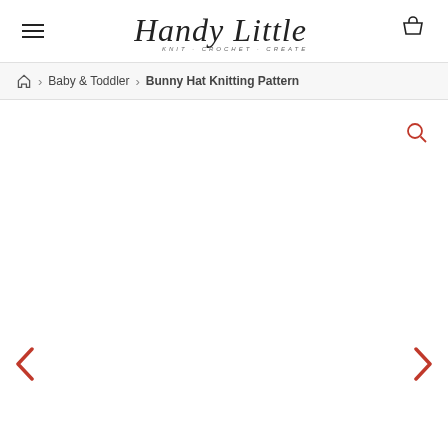Handy Little Me — KNIT · CROCHET · CREATE
🏠 > Baby & Toddler > Bunny Hat Knitting Pattern
[Figure (other): Image carousel area with search icon, previous arrow (red <), and next arrow (red >)]